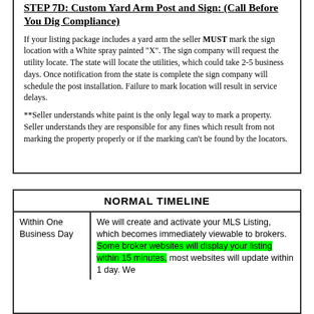STEP 7D: Custom Yard Arm Post and Sign: (Call Before You Dig Compliance)
If your listing package includes a yard arm the seller MUST mark the sign location with a White spray painted "X". The sign company will request the utility locate. The state will locate the utilities, which could take 2-5 business days. Once notification from the state is complete the sign company will schedule the post installation. Failure to mark location will result in service delays.
**Seller understands white paint is the only legal way to mark a property. Seller understands they are responsible for any fines which result from not marking the property properly or if the marking can't be found by the locators.
|  | NORMAL TIMELINE |
| --- | --- |
| Within One Business Day | We will create and activate your MLS Listing, which becomes immediately viewable to brokers. Some broker websites will display your listing within 15 minutes, most websites will update within 1 day. We will... |